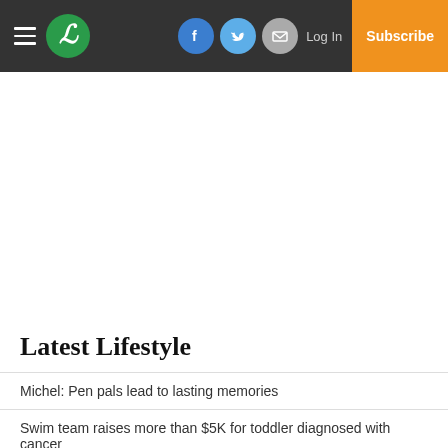Navigation bar with hamburger menu, L logo, Facebook, Twitter, Email social icons, Log In, Subscribe
Latest Lifestyle
Michel: Pen pals lead to lasting memories
Swim team raises more than $5K for toddler diagnosed with cancer
Plants that reset the aging clock, to keep a plant going forever